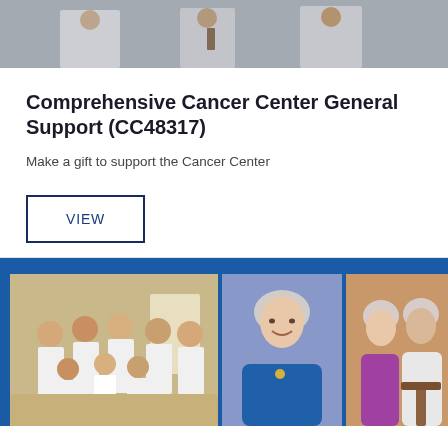[Figure (photo): Group of medical professionals in white coats standing together, cropped at top of page]
Comprehensive Cancer Center General Support (CC48317)
Make a gift to support the Cancer Center
VIEW
[Figure (photo): Three photos side by side on blue background: a group of people in matching white t-shirts, a smiling older woman in blue, and two women posing together]